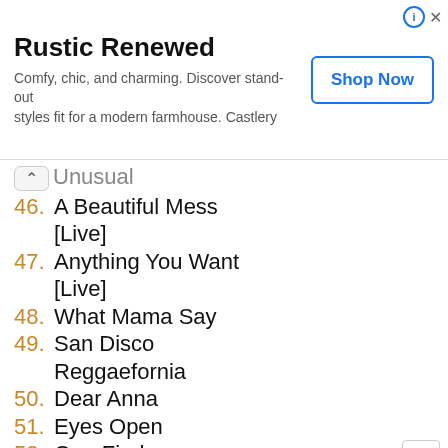[Figure (screenshot): Advertisement banner for Castlery 'Rustic Renewed' furniture with 'Shop Now' button]
Unusual
46. A Beautiful Mess [Live]
47. Anything You Want [Live]
48. What Mama Say
49. San Disco Reggaefornia
50. Dear Anna
51. Eyes Open
52. One Find
53. Run Boy, Run
54. Shy That Way
55. Strange
56. Up